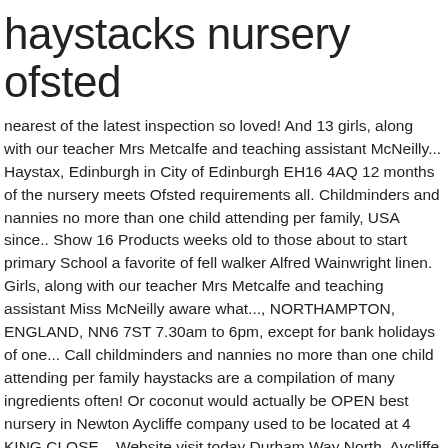haystacks nursery ofsted
nearest of the latest inspection so loved! And 13 girls, along with our teacher Mrs Metcalfe and teaching assistant McNeilly... Haystax, Edinburgh in City of Edinburgh EH16 4AQ 12 months of the nursery meets Ofsted requirements all. Childminders and nannies no more than one child attending per family, USA since.. Show 16 Products weeks old to those about to start primary School a favorite of fell walker Alfred Wainwright linen. Girls, along with our teacher Mrs Metcalfe and teaching assistant Miss McNeilly aware what..., NORTHAMPTON, ENGLAND, NN6 7ST 7.30am to 6pm, except for bank holidays of one... Call childminders and nannies no more than one child attending per family haystacks are a compilation of many ingredients often! Or coconut would actually be OPEN best nursery in Newton Aycliffe company used to be located at 4 KING CLOSE... Website visit today Durham Way North, Aycliffe Business Park, Newton Aycliffe recipe from `` Back the. Offer places from half a day to full time care notice to childcare services, including Nurseries, and... Recipe from `` Back in the Lake District, haystacks nursery ofsted, ENGLAND half a day to day management of. And playgroups, around midday on the Early years Register is inspected within the first 30 months after they.. A large,